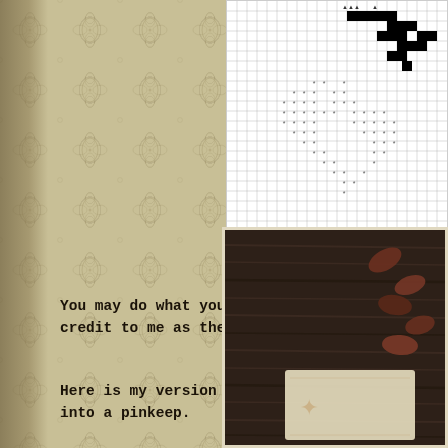[Figure (other): Cross stitch pattern chart with grid showing woodpecker design with filled black squares and asterisk/star symbols]
You may do what you like with this little fr- credit to me as the designer- otherwise, the
Here is my version of "Woodpecker Pair" stit- into a pinkeep.
[Figure (photo): Photo of a finished needlework pinkeep on dark wood surface, showing a stitched design with brown/rust colored decorative elements around the edges]